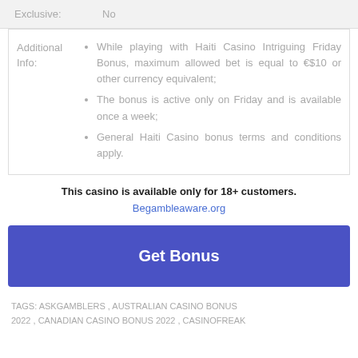| Field | Value |
| --- | --- |
| Exclusive: | No |
While playing with Haiti Casino Intriguing Friday Bonus, maximum allowed bet is equal to €$10 or other currency equivalent;
The bonus is active only on Friday and is available once a week;
General Haiti Casino bonus terms and conditions apply.
This casino is available only for 18+ customers.
Begambleaware.org
Get Bonus
TAGS: ASKGAMBLERS , AUSTRALIAN CASINO BONUS 2022 , CANADIAN CASINO BONUS 2022 , CASINOFREAK